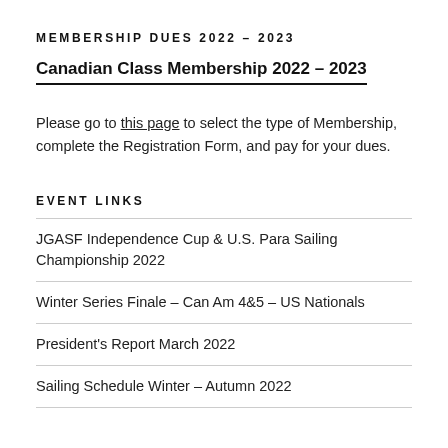MEMBERSHIP DUES 2022 – 2023
Canadian Class Membership 2022 – 2023
Please go to this page to select the type of Membership, complete the Registration Form, and pay for your dues.
EVENT LINKS
JGASF Independence Cup & U.S. Para Sailing Championship 2022
Winter Series Finale – Can Am 4&5 – US Nationals
President's Report March 2022
Sailing Schedule Winter – Autumn 2022